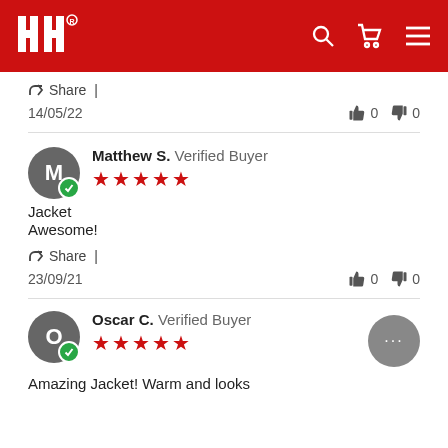HH (Helly Hansen) website header with logo and navigation icons
Share |
14/05/22   👍 0   👎 0
Matthew S. Verified Buyer ★★★★★
Jacket
Awesome!
Share |
23/09/21   👍 0   👎 0
Oscar C. Verified Buyer ★★★★★
Amazing Jacket! Warm and looks